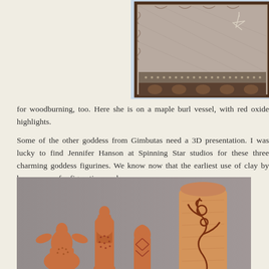[Figure (photo): Partial view of a framed textile or fiber art piece with earthy tones, scrollwork patterns, and beaded border, displayed against a light blue-gray background. Cropped at top-right corner of page.]
for woodburning, too.  Here she is on a maple burl vessel, with red oxide highlights.
Some of the other goddess from Gimbutas need a 3D presentation.  I was lucky to find Jennifer Hanson at Spinning Star studios for these three charming goddess figurines.  We know now that the earliest use of clay by humans was for figurative work.
[Figure (photo): Photograph of three terracotta-colored clay goddess figurines of varying heights arranged on a gray surface. The tallest figurine on the right is a tall cylindrical vessel with incised line art of a figure with outstretched arms. The other two are more traditional goddess forms with textured surfaces and decorative dot patterns.]